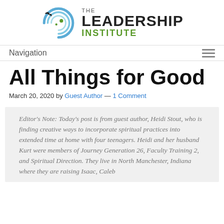[Figure (logo): The Leadership Institute logo with circular bird/wave graphic and text 'THE LEADERSHIP INSTITUTE' with green 'INSTITUTE' text]
Navigation
All Things for Good
March 20, 2020 by Guest Author — 1 Comment
Editor's Note: Today's post is from guest author, Heidi Stout, who is finding creative ways to incorporate spiritual practices into extended time at home with four teenagers. Heidi and her husband Kurt were members of Journey Generation 26, Faculty Training 2, and Spiritual Direction. They live in North Manchester, Indiana where they are raising Isaac, Caleb